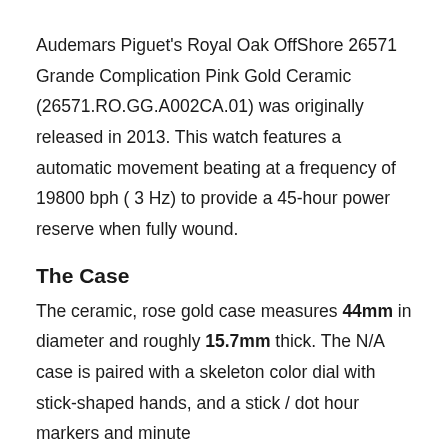Audemars Piguet's Royal Oak OffShore 26571 Grande Complication Pink Gold Ceramic (26571.RO.GG.A002CA.01) was originally released in 2013. This watch features a automatic movement beating at a frequency of 19800 bph ( 3 Hz) to provide a 45-hour power reserve when fully wound.
The Case
The ceramic, rose gold case measures 44mm in diameter and roughly 15.7mm thick. The N/A case is paired with a skeleton color dial with stick-shaped hands, and a stick / dot hour markers and minute